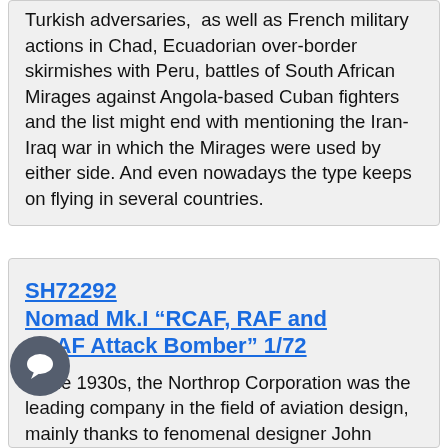Turkish adversaries, as well as French military actions in Chad, Ecuadorian over-border skirmishes with Peru, battles of South African Mirages against Angola-based Cuban fighters and the list might end with mentioning the Iran-Iraq war in which the Mirages were used by either side. And even nowadays the type keeps on flying in several countries.
SH72292 Nomad Mk.I “RCAF, RAF and SAAF Attack Bomber” 1/72
In the 1930s, the Northrop Corporation was the leading company in the field of aviation design, mainly thanks to fenomenal designer John Knudsen „Jack“